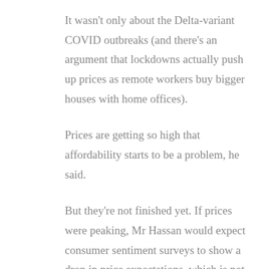It wasn't only about the Delta-variant COVID outbreaks (and there's an argument that lockdowns actually push up prices as remote workers buy bigger houses with home offices).
Prices are getting so high that affordability starts to be a problem, he said.
But they're not finished yet. If prices were peaking, Mr Hassan would expect consumer sentiment surveys to show a drop in price expectations, which is not happening. Another warning sign would be a drop in